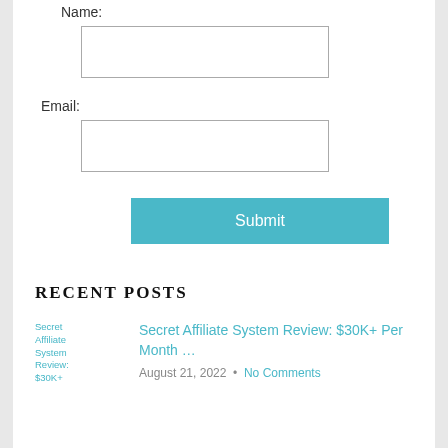Name:
Email:
Submit
RECENT POSTS
[Figure (other): Thumbnail image placeholder for Secret Affiliate System Review: $30K+]
Secret Affiliate System Review: $30K+ Per Month …
August 21, 2022 • No Comments